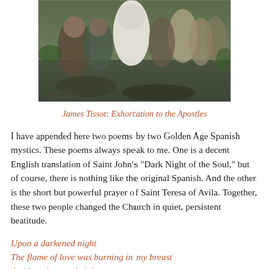[Figure (illustration): Painting by James Tissot showing a group of figures gathered outdoors, with one central figure in a white head covering surrounded by others in historical/biblical attire, seated on rocky ground with foliage in background.]
James Tissot: Exhortation to the Apostles
I have appended here two poems by two Golden Age Spanish mystics. These poems always speak to me. One is a decent English translation of Saint John's “Dark Night of the Soul,” but of course, there is nothing like the original Spanish. And the other is the short but powerful prayer of Saint Teresa of Avila. Together, these two people changed the Church in quiet, persistent beatitude.
Upon a darkened night
The flame of love was burning in my breast
And by a lantern bright